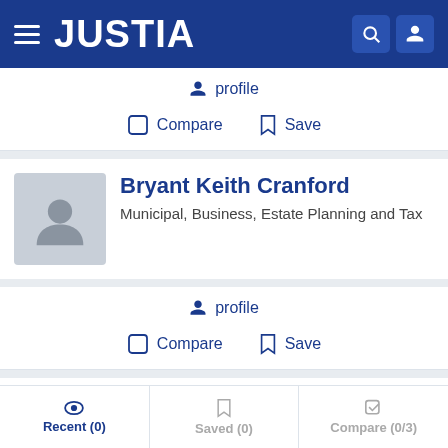JUSTIA
profile
Compare   Save
Bryant Keith Cranford
Municipal, Business, Estate Planning and Tax
profile
Compare   Save
George Campbell
Recent (0)   Saved (0)   Compare (0/3)